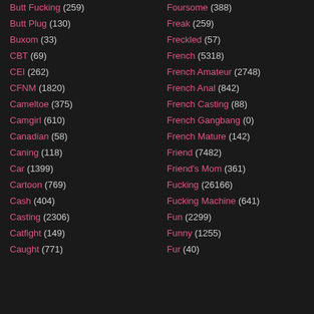Butt Fucking (259)
Butt Plug (130)
Buxom (33)
CBT (69)
CEI (262)
CFNM (1820)
Cameltoe (375)
Camgirl (610)
Canadian (58)
Caning (118)
Car (1399)
Cartoon (769)
Cash (404)
Casting (2306)
Catfight (149)
Caught (771)
Foursome (388)
Freak (259)
Freckled (57)
French (5318)
French Amateur (2748)
French Anal (842)
French Casting (88)
French Gangbang (0)
French Mature (142)
Friend (7482)
Friend's Mom (361)
Fucking (26166)
Fucking Machine (641)
Fun (2299)
Funny (1255)
Fur (40)